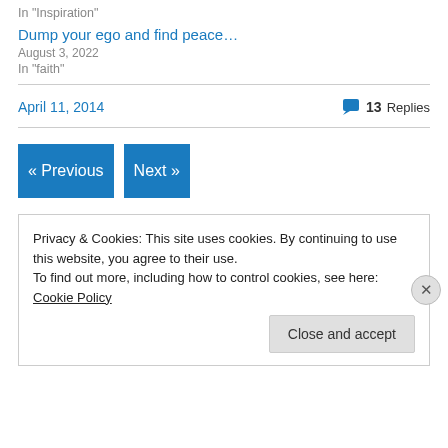In "Inspiration"
Dump your ego and find peace…
August 3, 2022
In "faith"
April 11, 2014
💬 13 Replies
« Previous
Next »
Privacy & Cookies: This site uses cookies. By continuing to use this website, you agree to their use.
To find out more, including how to control cookies, see here: Cookie Policy
Close and accept